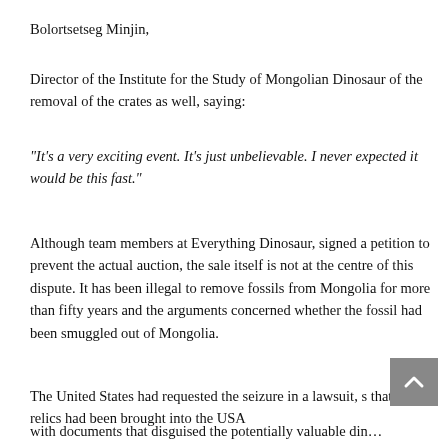Bolortsetseg Minjin,
Director of the Institute for the Study of Mongolian Dinosaur of the removal of the crates as well, saying:
“It’s a very exciting event.  It’s just unbelievable.  I never expected it would be this fast.”
Although team members at Everything Dinosaur, signed a petition to prevent the actual auction, the sale itself is not at the centre of this dispute.  It has been illegal to remove fossils from Mongolia for more than fifty years and the arguments concerned whether the fossil had been smuggled out of Mongolia.
The United States had requested the seizure in a lawsuit, s… that the relics had been brought into the USA
with documents that disguised the potentially valuable din…